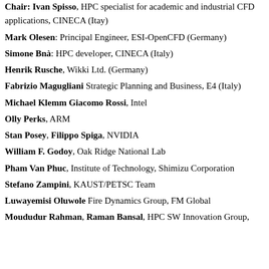Chair: Ivan Spisso, HPC specialist for academic and industrial CFD applications, CINECA (Itay)
Mark Olesen: Principal Engineer, ESI-OpenCFD (Germany)
Simone Bnà: HPC developer, CINECA (Italy)
Henrik Rusche, Wikki Ltd. (Germany)
Fabrizio Magugliani Strategic Planning and Business, E4 (Italy)
Michael Klemm Giacomo Rossi, Intel
Olly Perks, ARM
Stan Posey, Filippo Spiga, NVIDIA
William F. Godoy, Oak Ridge National Lab
Pham Van Phuc, Institute of Technology, Shimizu Corporation
Stefano Zampini, KAUST/PETSC Team
Luwayemisi Oluwole Fire Dynamics Group, FM Global
Moududur Rahman, Raman Bansal, HPC SW Innovation Group,